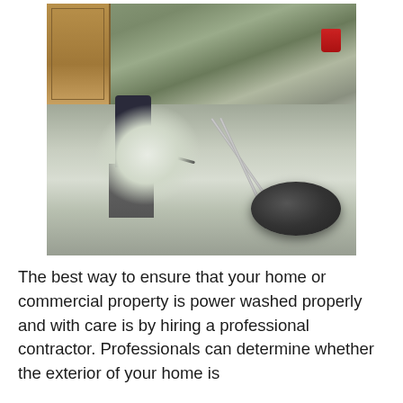[Figure (photo): A person using a surface cleaner (rotary pressure washer attachment) to power wash a concrete driveway. The cleaner is a large circular black disc with a metal handle. The driveway shows a clean lighter strip where it has been cleaned. A red bucket is visible in the upper right background, and a garage door is on the left.]
The best way to ensure that your home or commercial property is power washed properly and with care is by hiring a professional contractor. Professionals can determine whether the exterior of your home is